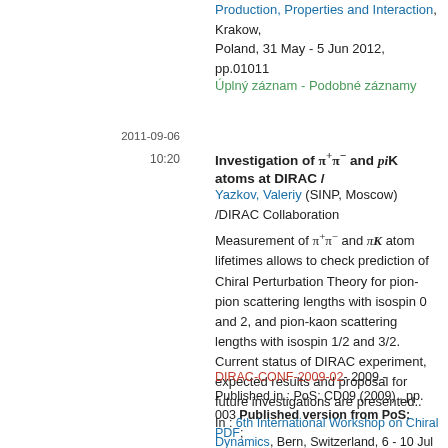Production, Properties and Interaction, Krakow, Poland, 31 May - 5 Jun 2012, pp.01011
Úplný záznam - Podobné záznamy
2011-09-06
10:20
Investigation of π+π− and piK atoms at DIRAC /
Yazkov, Valeriy (SINP, Moscow) /DIRAC Collaboration
Measurement of π+π− and πK atom lifetimes allows to check prediction of Chiral Perturbation Theory for pion-pion scattering lengths with isospin 0 and 2, and pion-kaon scattering lengths with isospin 1/2 and 3/2. Current status of DIRAC experiment, expected results and proposal for future investigations are presented..
DIRAC-CONF-2009-02- 2009 - Published in : PoS: CD09 (2009) , pp. 003 Published version from PoS: PDF;
In : 6th International Workshop on Chiral Dynamics, Bern, Switzerland, 6 - 10 Jul 2009, pp.003